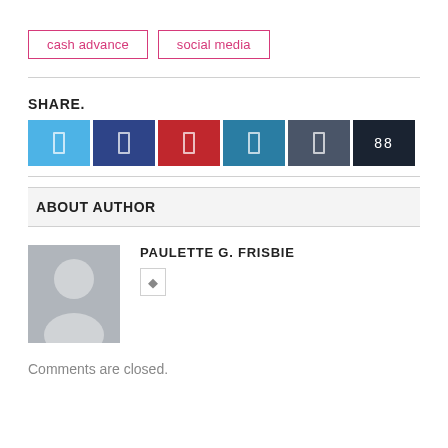cash advance   social media
SHARE.
[Figure (other): Social share buttons: Twitter (blue), Facebook (dark blue), Pinterest (red), LinkedIn (teal), Buffer (dark slate), count (dark)]
ABOUT AUTHOR
[Figure (photo): Default user avatar placeholder - gray background with silhouette icon]
PAULETTE G. FRISBIE
Comments are closed.